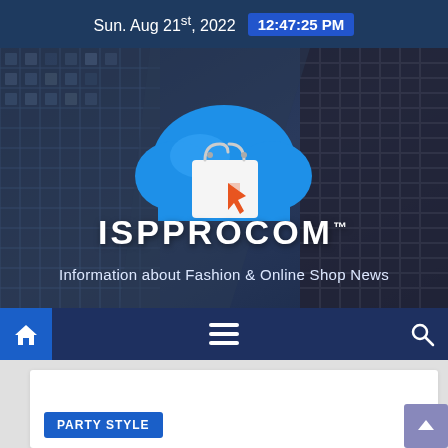Sun. Aug 21st, 2022  12:47:25 PM
[Figure (screenshot): Hero banner with building background, cloud shopping bag logo, ISPPROCOM title and subtitle]
ISPPROCOM
Information about Fashion & Online Shop News
[Figure (infographic): Navigation bar with home icon, hamburger menu icon, and search icon]
PARTY STYLE